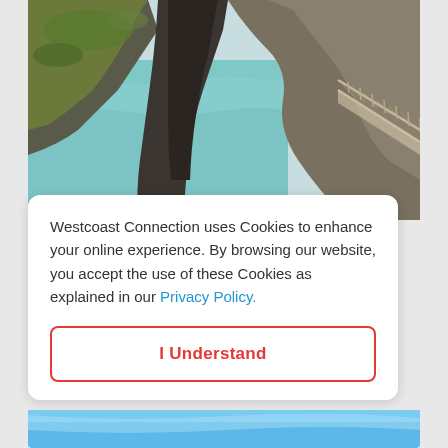[Figure (photo): Coastal cliff scene with turquoise sea water, rocky cliffs with green moss/grass, and a rope/wire bridge railing visible on the right side]
Westcoast Connection uses Cookies to enhance your online experience. By browsing our website, you accept the use of these Cookies as explained in our Privacy Policy.
I Understand
[Figure (photo): Blue sky/water banner at the bottom of the page]